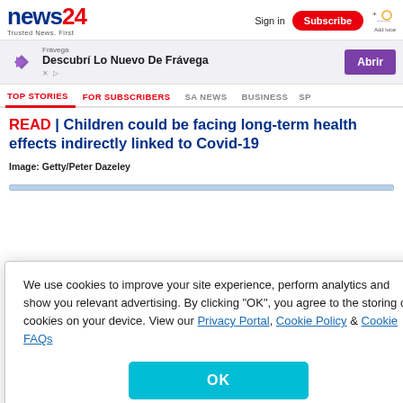news24 | Trusted News. First | Sign in | Subscribe
[Figure (screenshot): Advertisement banner for Frávega: 'Descubrí Lo Nuevo De Frávega' with purple 'Abrir' button]
TOP STORIES | FOR SUBSCRIBERS | SA NEWS | BUSINESS | SP
READ | Children could be facing long-term health effects indirectly linked to Covid-19
Image: Getty/Peter Dazeley
We use cookies to improve your site experience, perform analytics and show you relevant advertising. By clicking "OK", you agree to the storing of cookies on your device. View our Privacy Portal, Cookie Policy & Cookie FAQs